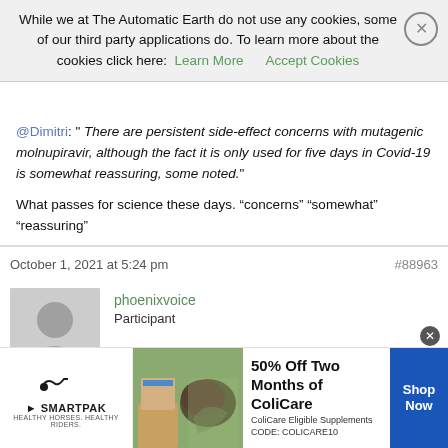While we at The Automatic Earth do not use any cookies, some of our third party applications do. To learn more about the cookies click here: Learn More  Accept Cookies
@Dimitri: " There are persistent side-effect concerns with mutagenic molnupiravir, although the fact it is only used for five days in Covid-19 is somewhat reassuring, some noted."
What passes for science these days. “concerns” “somewhat” “reassuring”
October 1, 2021 at 5:24 pm   #88963
phoenixvoice
Participant
Oh, but TDK…that would presume that we champion cooperation. Cooperation = bad (despite what the kindergarten teacher said)
[Figure (infographic): SmartPak advertisement: 50% Off Two Months of ColiCare, ColiCare Eligible Supplements, CODE: COLICARE10, with Shop Now button]